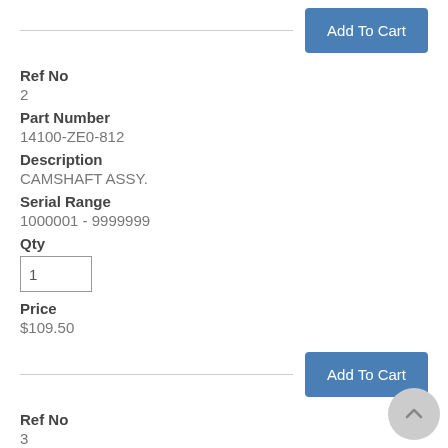[Figure (other): Add To Cart button (top)]
Ref No
2
Part Number
14100-ZE0-812
Description
CAMSHAFT ASSY.
Serial Range
1000001 - 9999999
Qty
1
Price
$109.50
[Figure (other): Add To Cart button (bottom)]
Ref No
3
Part Number